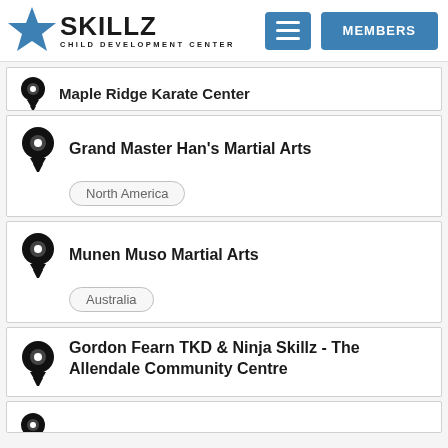[Figure (logo): Skillz Child Development Center logo with blue star and MEMBERS button]
Maple Ridge Karate Center
Grand Master Han's Martial Arts - North America
Munen Muso Martial Arts - Australia
Gordon Fearn TKD & Ninja Skillz - The Allendale Community Centre
(partial card at bottom)